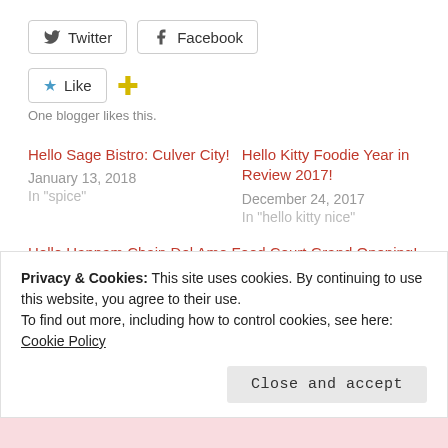[Figure (other): Twitter and Facebook share buttons]
[Figure (other): Like button with star icon and yellow plus/move icon]
One blogger likes this.
Hello Sage Bistro: Culver City!
January 13, 2018
In "spice"
Hello Kitty Foodie Year in Review 2017!
December 24, 2017
In "hello kitty nice"
Hello Hannam Chain Del Amo Food Court Grand Opening!
August 15, 2022
Privacy & Cookies: This site uses cookies. By continuing to use this website, you agree to their use.
To find out more, including how to control cookies, see here: Cookie Policy
Close and accept